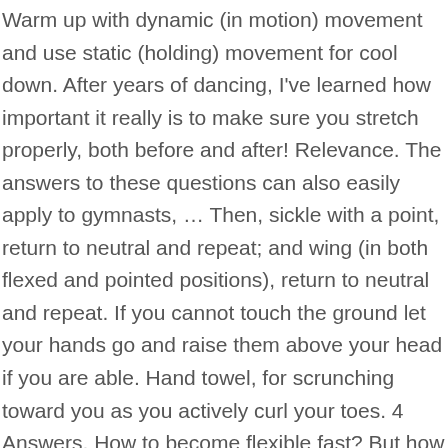Warm up with dynamic (in motion) movement and use static (holding) movement for cool down. After years of dancing, I've learned how important it really is to make sure you stretch properly, both before and after! Relevance. The answers to these questions can also easily apply to gymnasts, … Then, sickle with a point, return to neutral and repeat; and wing (in both flexed and pointed positions), return to neutral and repeat. If you cannot touch the ground let your hands go and raise them above your head if you are able. Hand towel, for scrunching toward you as you actively curl your toes. 4 Answers. How to become flexible fast? But how do I make my back flexible enough to go into a back bend, go on my elbows, then put my head in between my legs? Becoming more flexible is a big goal of theirs. Hips remain pressed to the floor as